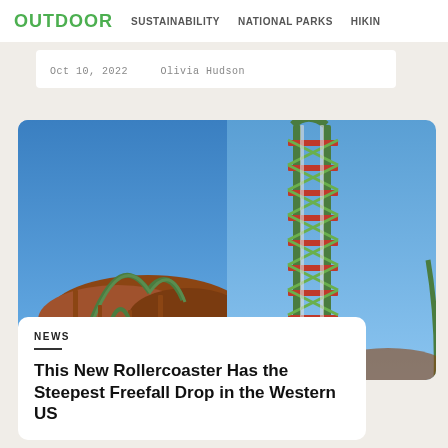OUTDOOR   SUSTAINABILITY   NATIONAL PARKS   HIKING
Oct 10, 2022   Olivia Hudson
[Figure (photo): Two photos of a green and orange steel roller coaster against a bright blue sky. Left photo shows a wide view of the coaster track with red rock hills in background. Right photo shows a close-up of the coaster's steep vertical tower structure.]
NEWS
This New Rollercoaster Has the Steepest Freefall Drop in the Western US